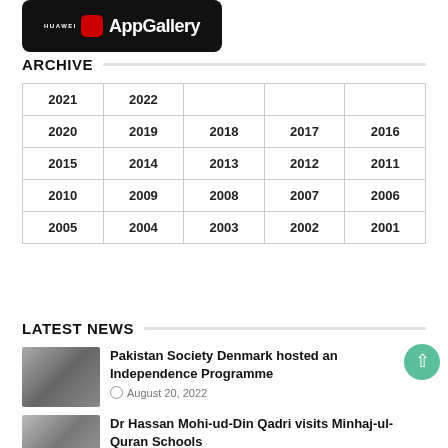[Figure (logo): Huawei AppGallery app store badge with black background, red icon, and white text]
ARCHIVE
| 2021 | 2022 |  |  |  |
| 2020 | 2019 | 2018 | 2017 | 2016 |
| 2015 | 2014 | 2013 | 2012 | 2011 |
| 2010 | 2009 | 2008 | 2007 | 2006 |
| 2005 | 2004 | 2003 | 2002 | 2001 |
LATEST NEWS
[Figure (photo): Thumbnail photo of two people at a Pakistan Society Denmark Independence Programme event]
Pakistan Society Denmark hosted an Independence Programme
August 20, 2022
[Figure (photo): Thumbnail photo related to Dr Hassan Mohi-ud-Din Qadri visits Minhaj-ul-Quran Schools]
Dr Hassan Mohi-ud-Din Qadri visits Minhaj-ul-Quran Schools